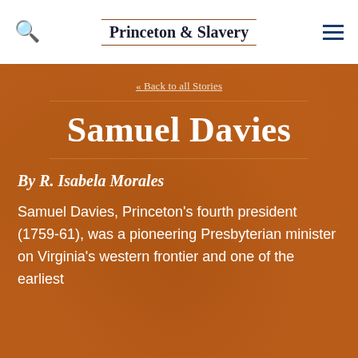Princeton & Slavery
« Back to all Stories
Samuel Davies
By R. Isabela Morales
Samuel Davies, Princeton's fourth president (1759-61), was a pioneering Presbyterian minister on Virginia's western frontier and one of the earliest